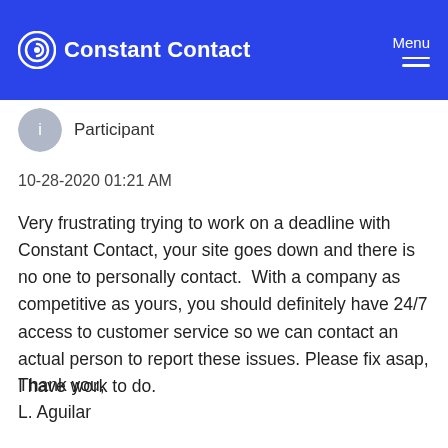Constant Contact | Menu
Participant
10-28-2020 01:21 AM
Very frustrating trying to work on a deadline with Constant Contact, your site goes down and there is no one to personally contact.  With a company as competitive as yours, you should definitely have 24/7 access to customer service so we can contact an actual person to report these issues. Please fix asap, I have work to do.

Thank you,
L. Aguilar